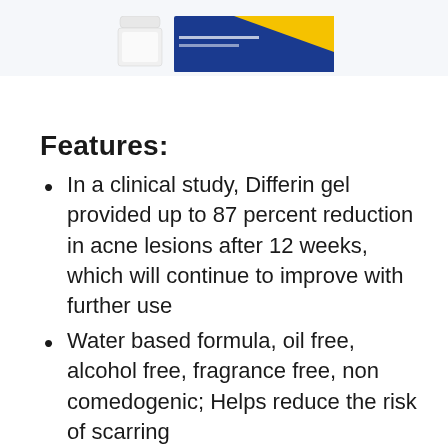[Figure (photo): Product images showing a white jar and a blue and yellow product box for Differin gel]
Features:
In a clinical study, Differin gel provided up to 87 percent reduction in acne lesions after 12 weeks, which will continue to improve with further use
Water based formula, oil free, alcohol free, fragrance free, non comedogenic; Helps reduce the risk of scarring